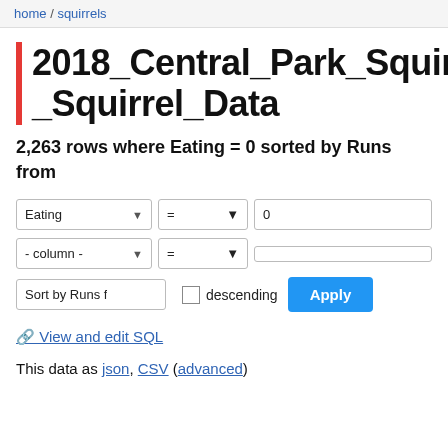home / squirrels
2018_Central_Park_Squirre_Squirrel_Data
2,263 rows where Eating = 0 sorted by Runs from
Filter controls: Eating = 0, - column - = , Sort by Runs f, descending, Apply
🔗 View and edit SQL
This data as json, CSV (advanced)